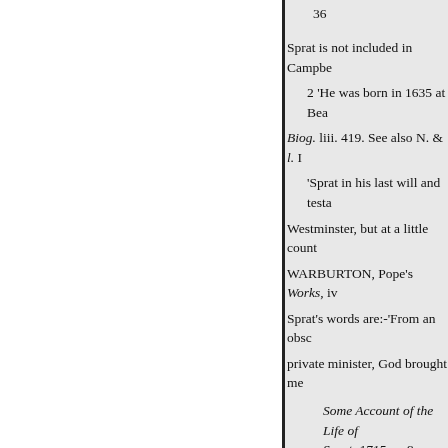36
Sprat is not included in Campbe
2 'He was born in 1635 at Bea
Biog. liii. 419. See also N. & l. I
'Sprat in his last will and testa
Westminster, but at a little count
WARBURTON, Pope's Works, iv
Sprat's words are:-'From an obsc
private minister, God brought me
Some Account of the Life of
Sprat, 1715, p. 8.
Ante, WALLER, 67; DRYDE
Cromwell to Moses and Richard
of Charles l's 'suffering virtues' l
Saviour.'
Cowley. The poem is an imitatio
? In the original :—'Having be